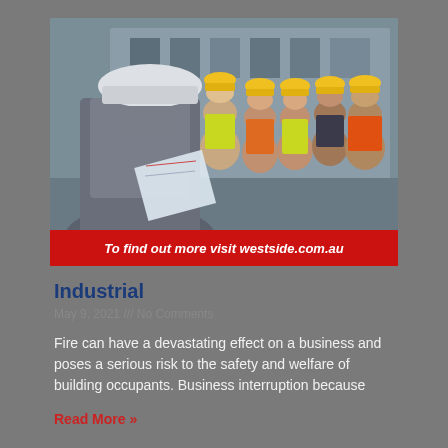[Figure (photo): A man in a white hard hat and suit (seen from behind) faces a group of five construction workers wearing yellow hard hats and high-visibility vests inside an industrial facility. The group is smiling and the man is holding blueprints. A red banner at the bottom reads 'To find out more visit westside.com.au'.]
To find out more visit westside.com.au
Industrial
May 9, 2021 /// No Comments
Fire can have a devastating effect on a business and poses a serious risk to the safety and welfare of building occupants. Business interruption because
Read More »